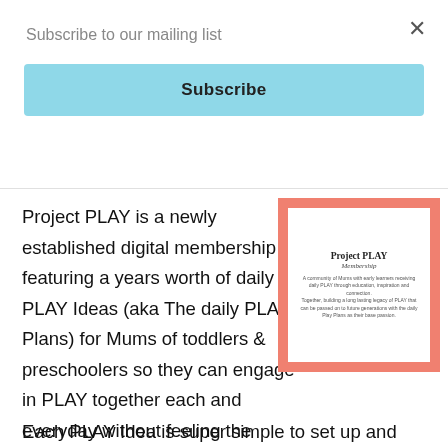Subscribe to our mailing list
Subscribe
Project PLAY is a newly established digital membership featuring a years worth of daily PLAY Ideas (aka The daily PLAY Plans) for Mums of toddlers & preschoolers so they can engage in PLAY together each and everyday without feeling the stress of finding an idea!
[Figure (illustration): Product card with salmon/coral border showing 'Project PLAY Membership' title with small descriptive text underneath on white background]
Each PLAY Idea is super simple to set up and